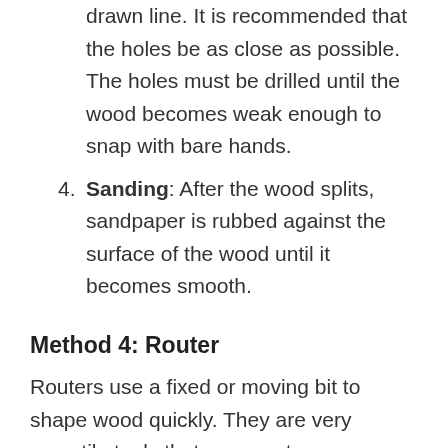drawn line. It is recommended that the holes be as close as possible. The holes must be drilled until the wood becomes weak enough to snap with bare hands.
Sanding: After the wood splits, sandpaper is rubbed against the surface of the wood until it becomes smooth.
Method 4: Router
Routers use a fixed or moving bit to shape wood quickly. They are very versatile tools that can create grooves, joints, and other patterns in the wood. The following method is used to cut wood using router: